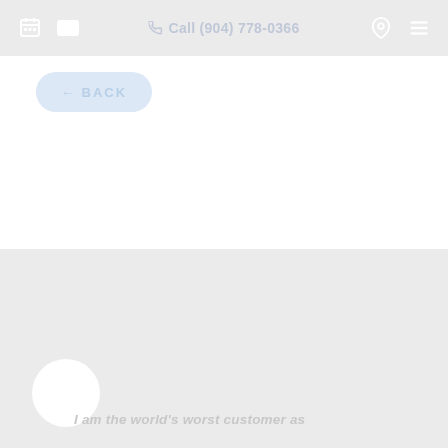Call (904) 778-0366
← BACK
I am the world's worst customer as